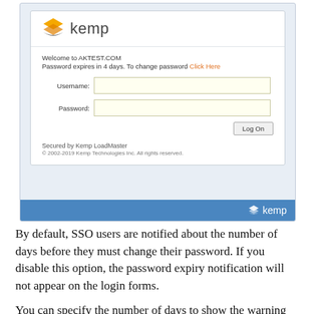[Figure (screenshot): Kemp LoadMaster login form screenshot showing logo, welcome message 'Welcome to AKTEST.COM', password expiry notice with 'Click Here' link in orange, Username and Password fields with light yellow background, Log On button, 'Secured by Kemp LoadMaster' text, copyright notice, and blue footer with Kemp logo.]
By default, SSO users are notified about the number of days before they must change their password. If you disable this option, the password expiry notification will not appear on the login forms.
You can specify the number of days to show the warning before the password is expired. The default value for this field is 15 days. The range is 1 to 30 days. This field is only